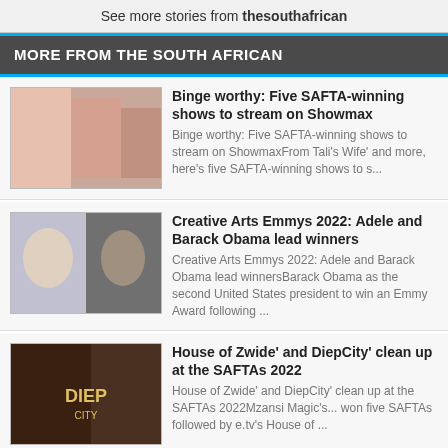See more stories from thesouthafrican
MORE FROM THE SOUTH AFRICAN
Binge worthy: Five SAFTA-winning shows to stream on Showmax — Binge worthy: Five SAFTA-winning shows to stream on ShowmaxFrom Tali's Wife' and more, here's five SAFTA-winning shows to s...
Creative Arts Emmys 2022: Adele and Barack Obama lead winners — Creative Arts Emmys 2022: Adele and Barack Obama lead winnersBarack Obama as the second United States president to win an Emmy Award following ...
House of Zwide' and DiepCity' clean up at the SAFTAs 2022 — House of Zwide' and DiepCity' clean up at the SAFTAs 2022Mzansi Magic's... won five SAFTAs followed by e.tv's House of ...
Queen Bey turns 41: A look at Beyonc's chart-topping hits [watch] — Queen Bey turns 41: A look at Beyonc 's chart-topping hits [watch]From her ic... to her duet with Ed Sheeran, Perfect', here a...
WATCH: The Queen - Tonight's teaser E32 S7 — WATCH: The Queen - Tonight's teaser E32 S7Don't miss out on what's happe... episode of The Queen and Catch the latest episode ever...
WATCH: The River - Tonight's teaser E151 S5